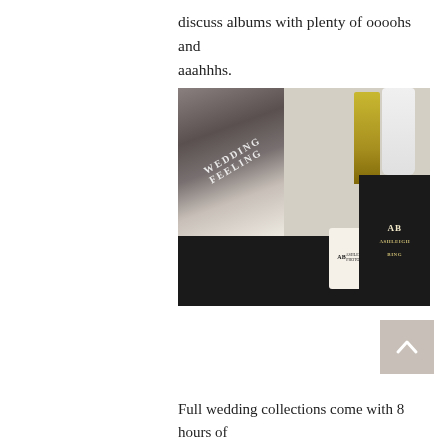discuss albums with plenty of oooohs and aaahhhs.
[Figure (photo): Flat lay photo of wedding photography brand materials including a wedding album/portfolio with a couple photo, black and gold branding cards with 'AB Ashleigh Bing Photography' logo, Green & Blacks chocolate bars, a gold perfume/oil bottle, a white vase, and an AB branded cookie.]
03
THE INVESTMENT
Full wedding collections come with 8 hours of coverage. Once you decide on the collection that best fits your needs, a proposal will be sent over